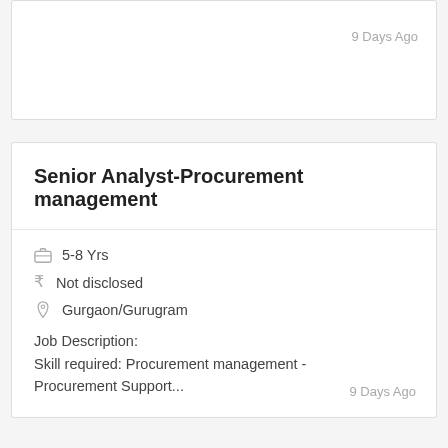9 Days Ago
Senior Analyst-Procurement management
5-8 Yrs
Not disclosed
Gurgaon/Gurugram
Job Description:
Skill required: Procurement management - Procurement Support...
9 Days Ago